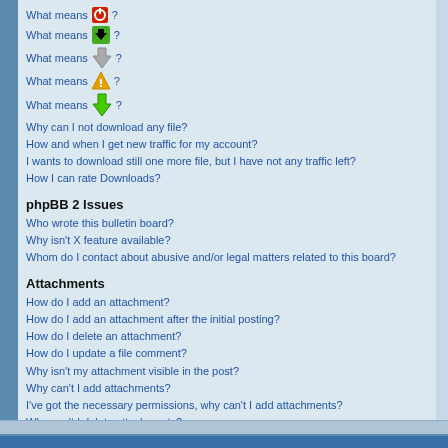What means [power icon]?
What means [green download icon]?
What means [grey arrow icon]?
What means [orange warning icon]?
What means [lime green arrow icon]?
Why can I not download any file?
How and when I get new traffic for my account?
I wants to download still one more file, but I have not any traffic left?
How I can rate Downloads?
phpBB 2 Issues
Who wrote this bulletin board?
Why isn't X feature available?
Whom do I contact about abusive and/or legal matters related to this board?
Attachments
How do I add an attachment?
How do I add an attachment after the initial posting?
How do I delete an attachment?
How do I update a file comment?
Why isn't my attachment visible in the post?
Why can't I add attachments?
I've got the necessary permissions, why can't I add attachments?
Why can't I delete attachments?
Why can't I view/download attachments?
Who do I contact about illegal or possibly illegal attachments?